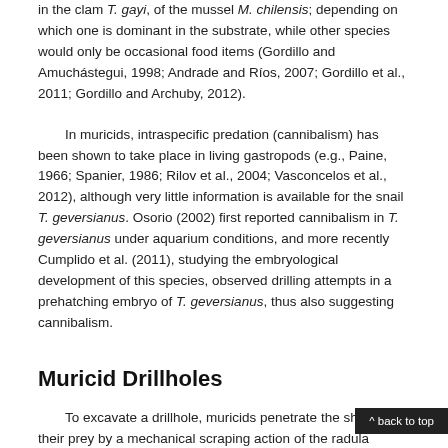in the clam T. gayi, of the mussel M. chilensis; depending on which one is dominant in the substrate, while other species would only be occasional food items (Gordillo and Amuchástegui, 1998; Andrade and Ríos, 2007; Gordillo et al., 2011; Gordillo and Archuby, 2012).
In muricids, intraspecific predation (cannibalism) has been shown to take place in living gastropods (e.g., Paine, 1966; Spanier, 1986; Rilov et al., 2004; Vasconcelos et al., 2012), although very little information is available for the snail T. geversianus. Osorio (2002) first reported cannibalism in T. geversianus under aquarium conditions, and more recently Cumplido et al. (2011), studying the embryological development of this species, observed drilling attempts in a prehatching embryo of T. geversianus, thus also suggesting cannibalism.
Muricid Drillholes
To excavate a drillhole, muricids penetrate the shells of their prey by a mechanical scraping action of the radula